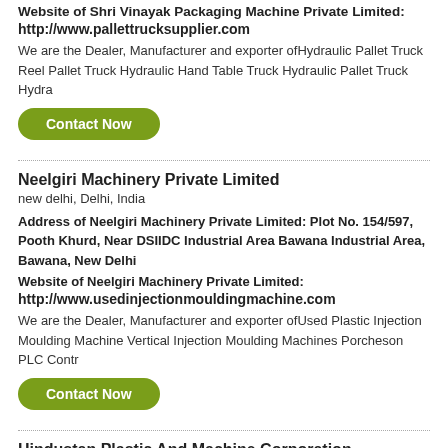Website of Shri Vinayak Packaging Machine Private Limited:
http://www.pallettrucksupplier.com
We are the Dealer, Manufacturer and exporter ofHydraulic Pallet Truck Reel Pallet Truck Hydraulic Hand Table Truck Hydraulic Pallet Truck Hydra
Contact Now
Neelgiri Machinery Private Limited
new delhi, Delhi, India
Address of Neelgiri Machinery Private Limited: Plot No. 154/597, Pooth Khurd, Near DSIIDC Industrial Area Bawana Industrial Area, Bawana, New Delhi
Website of Neelgiri Machinery Private Limited:
http://www.usedinjectionmouldingmachine.com
We are the Dealer, Manufacturer and exporter ofUsed Plastic Injection Moulding Machine Vertical Injection Moulding Machines Porcheson PLC Contr
Contact Now
Hindustan Plastic And Machine Corporation